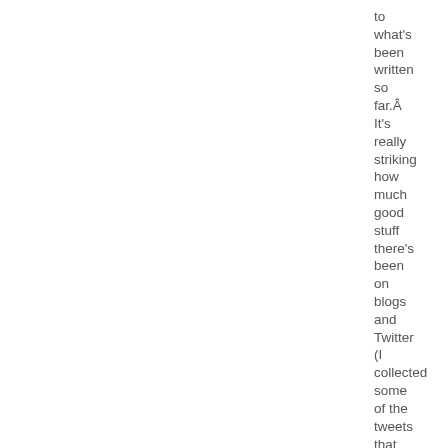to what's been written so far.Â It's really striking how much good stuff there's been on blogs and Twitter (I collected some of the tweets that